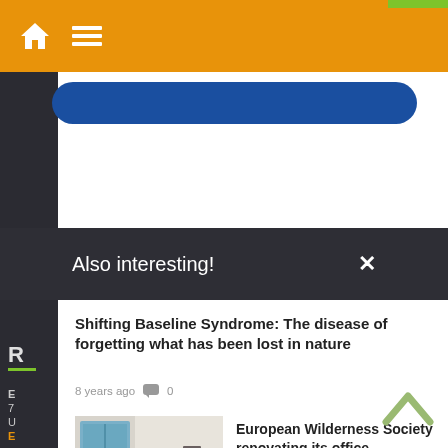Navigation bar with home and menu icons
[Figure (screenshot): Blue rounded rectangle button element]
Also interesting!
Shifting Baseline Syndrome: The disease of forgetting what has been lost in nature
8 years ago  0
[Figure (photo): Interior room under renovation with furniture and tools scattered]
European Wilderness Society renovating its office
5 years ago  0